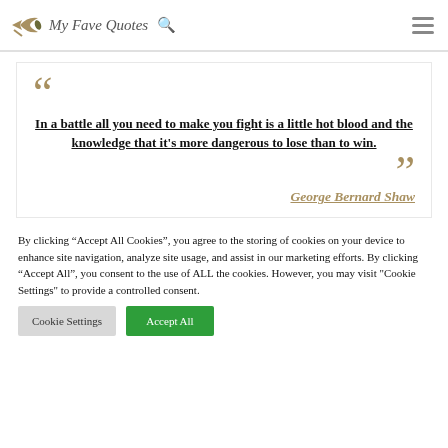My Fave Quotes
In a battle all you need to make you fight is a little hot blood and the knowledge that it's more dangerous to lose than to win.
— George Bernard Shaw
By clicking “Accept All Cookies”, you agree to the storing of cookies on your device to enhance site navigation, analyze site usage, and assist in our marketing efforts. By clicking “Accept All”, you consent to the use of ALL the cookies. However, you may visit "Cookie Settings" to provide a controlled consent.